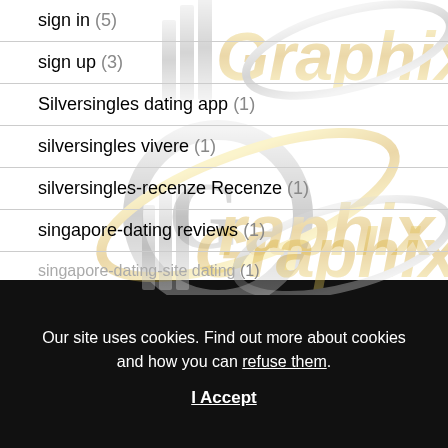sign in (5)
sign up (3)
Silversingles dating app (1)
silversingles vivere (1)
silversingles-recenze Recenze (1)
singapore-dating reviews (1)
[Figure (logo): IllGraphix brand logo appearing as watermark (repeated three times) with metallic silver G and gold Graphix text with orbital ring]
Our site uses cookies. Find out more about cookies and how you can refuse them.
I Accept